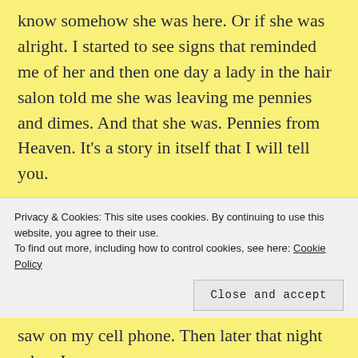know somehow she was here. Or if she was alright. I started to see signs that reminded me of her and then one day a lady in the hair salon told me she was leaving me pennies and dimes. And that she was. Pennies from Heaven. It's a story in itself that I will tell you.

But today I want to show you what happened on July 19th, 2016. I just got my phone on July 14th for my birthday. I was so excited to take pictures of the full moon. We started our walk on July 18th and it ended on July 19th with the most wonderous sight.
Privacy & Cookies: This site uses cookies. By continuing to use this website, you agree to their use.
To find out more, including how to control cookies, see here: Cookie Policy
Close and accept
saw on my cell phone. Then later that night when I was